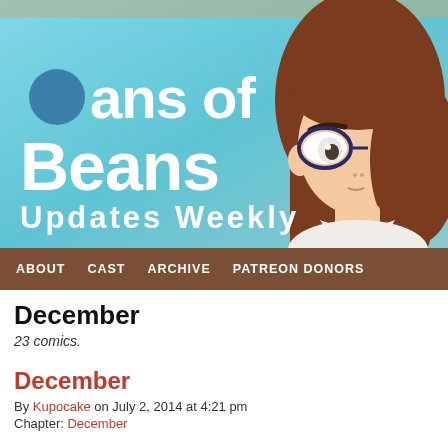[Figure (illustration): Cans of Beans webcomic banner with light blue gradient background, white bold text reading 'Cans of Beans Updates Weekly' with a dark teal circle replacing the C in Cans, and an anime-style girl character with brown hair and glasses on the right side]
ABOUT  CAST  ARCHIVE  PATREON DONORS
December
23 comics.
December
By Kupocake on July 2, 2014 at 4:21 pm
Chapter: December